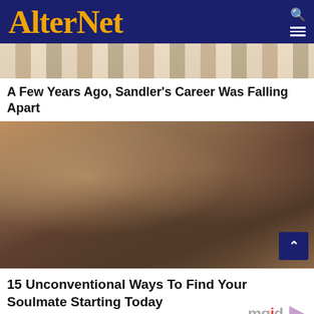AlterNet
[Figure (photo): Partial top image showing striped clothing, cropped person]
A Few Years Ago, Sandler's Career Was Falling Apart
[Figure (photo): Man and woman standing in water, man is shirtless muscular with beard and sunglasses, woman in red bikini top with sunglasses, brick wall background]
15 Unconventional Ways To Find Your Soulmate Starting Today
[Figure (logo): mgid logo with play button icon]